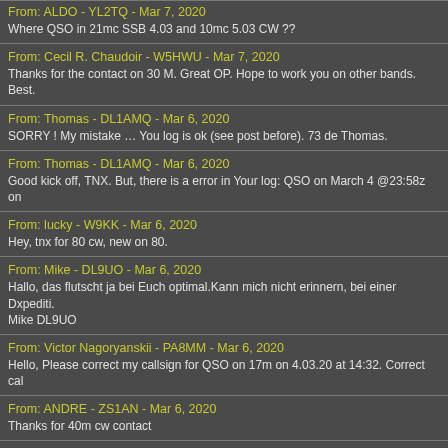From: ALDO - YL2TQ - Mar 7, 2020
Where QSO in 21mc SSB 4.03 and 10mc 5.03 CW ??
From: Cecil R. Chaudoir - W5HWU - Mar 7, 2020
Thanks for the contact on 30 M. Great OP. Hope to work you on other bands. Best.
From: Thomas - DL1AMQ - Mar 6, 2020
SORRY ! My mistake … You log is ok (see post before). 73 de Thomas.
From: Thomas - DL1AMQ - Mar 6, 2020
Good kick off, TNX. But, there is a error in Your log: QSO on March 4 @23:58z on
From: lucky - W9KK - Mar 6, 2020
Hey, tnx for 80 cw, new on 80.
From: Mike - DL9UO - Mar 6, 2020
Hallo, das flutscht ja bei Euch optimal.Kann mich nicht erinnern, bei einer Dxpediti.
Mike DL9UO
From: Victor Nagoryanskii - PA8MM - Mar 6, 2020
Hello, Please correct my callsign for QSO on 17m on 4.03.20 at 14:32. Correct cal
From: ANDRE - ZS1AN - Mar 6, 2020
Thanks for 40m cw contact
From: Randy Garletts - NR5N - Mar 6, 2020
Thanks for the new one! Good CW op.
From: Mike Costelo - VE1ANU - Mar 6, 2020
Dear Sigi. Someone with TO7DL copied my call sign down wrong as VE2ANU on 4.
Thank you so much. Best 73